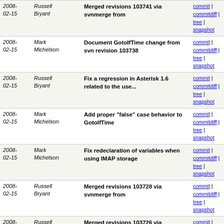| Date | Author | Message | Links |
| --- | --- | --- | --- |
| 2008-02-15 | Russell Bryant | Merged revisions 103741 via svnmerge from | commit | commitdiff | tree | snapshot |
| 2008-02-15 | Mark Michelson | Document GotoIfTime change from svn revision 103738 | commit | commitdiff | tree | snapshot |
| 2008-02-15 | Russell Bryant | Fix a regression in Asterisk 1.6 related to the use... | commit | commitdiff | tree | snapshot |
| 2008-02-15 | Mark Michelson | Add proper "false" case behavior to GotoIfTime | commit | commitdiff | tree | snapshot |
| 2008-02-15 | Mark Michelson | Fix redeclaration of variables when using IMAP storage | commit | commitdiff | tree | snapshot |
| 2008-02-15 | Russell Bryant | Merged revisions 103728 via svnmerge from | commit | commitdiff | tree | snapshot |
| 2008-02-15 | Russell Bryant | Merged revisions 103726 via svnmerge from | commit | commitdiff | tree | snapshot |
| 2008-02-15 | Mark Michelson | Merged revisions 103722 via svnmerge from | commit | commitdiff | tree | snapshot |
| 2008-02-15 | Jason Parker | Fix up some doxygen issues. | commit | commitdiff | tree | snapshot |
| 2008-02-15 | Tilghman Lesher | Remove extraneous copy | commit | commitdiff | tree | snapshot |
| 2008-02-15 | Mark | Merging of changes from 1.4 | commit |